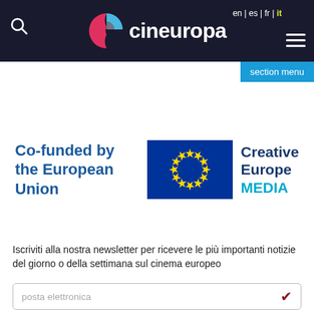cineuropa — en | es | fr | it — section menu
[Figure (logo): Creative Europe MEDIA co-funded by the European Union logo with EU flag]
Iscriviti alla nostra newsletter per ricevere le più importanti notizie del giorno o della settimana sul cinema europeo
posta elettronica